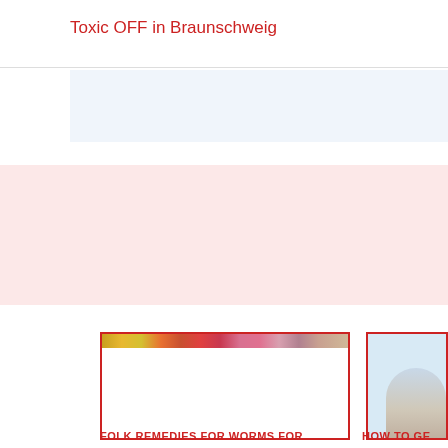Toxic OFF in Braunschweig
[Figure (other): Light blue empty content box below the header]
[Figure (other): Pink banner background with large red letter A partially visible on the right]
[Figure (photo): Card with colorful herb/flower image strip at top, mostly white/empty below, red border]
[Figure (photo): Partial card on right with blue sky background and partial figure of a person, red border]
FOLK REMEDIES FOR WORMS FOR
HOW TO GE